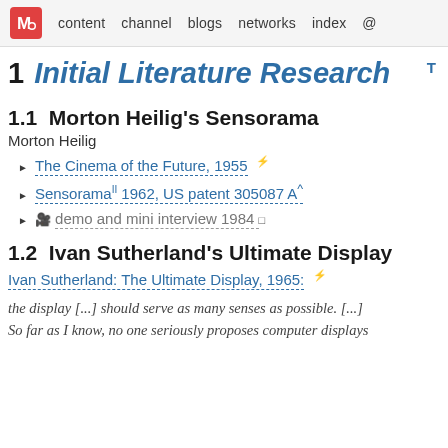content  channel  blogs  networks  index  @
1  Initial Literature Research
1.1  Morton Heilig's Sensorama
Morton Heilig
The Cinema of the Future, 1955
Sensorama  1962, US patent 305087 A^
demo and mini interview 1984
1.2  Ivan Sutherland's Ultimate Display
Ivan Sutherland: The Ultimate Display, 1965:
the display [...] should serve as many senses as possible. [...]
So far as I know, no one seriously proposes computer displays